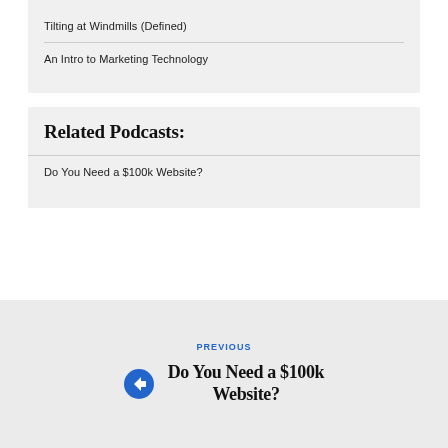Tilting at Windmills (Defined)
An Intro to Marketing Technology
Related Podcasts:
Do You Need a $100k Website?
PREVIOUS
Do You Need a $100k Website?